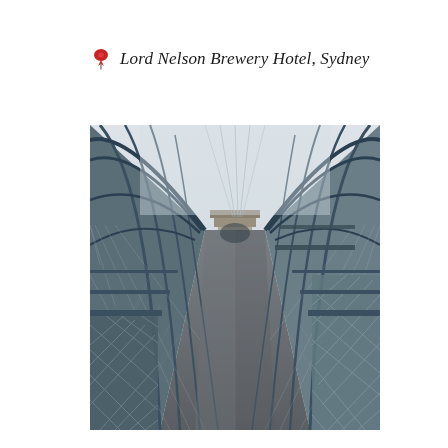Lord Nelson Brewery Hotel, Sydney
[Figure (photo): A perspective photograph looking along the pedestrian walkway on the Sydney Harbour Bridge. Metal mesh fencing and arched structural frames line both sides of the concrete footpath, which converges to a vanishing point at the stone pylon in the centre background. The sky is overcast and pale. The overall colour palette is grey-blue steel and muted tones.]